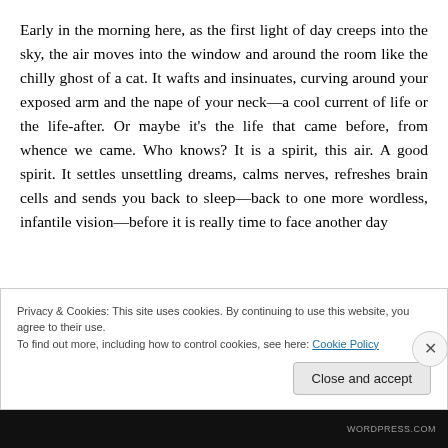Early in the morning here, as the first light of day creeps into the sky, the air moves into the window and around the room like the chilly ghost of a cat. It wafts and insinuates, curving around your exposed arm and the nape of your neck—a cool current of life or the life-after. Or maybe it's the life that came before, from whence we came. Who knows? It is a spirit, this air. A good spirit. It settles unsettling dreams, calms nerves, refreshes brain cells and sends you back to sleep—back to one more wordless, infantile vision—before it is really time to face another day
Privacy & Cookies: This site uses cookies. By continuing to use this website, you agree to their use.
To find out more, including how to control cookies, see here: Cookie Policy
Close and accept